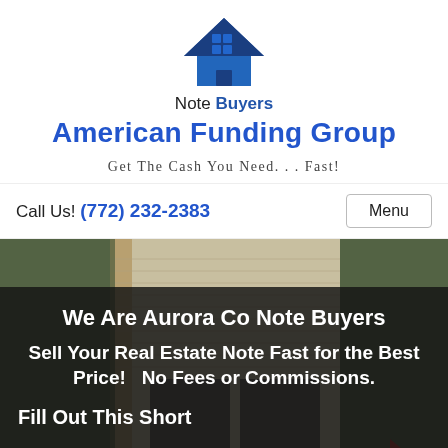[Figure (logo): House logo icon with blue roof and dark blue windows grid, used as company logo for American Funding Group Note Buyers]
Note Buyers
American Funding Group
Get The Cash You Need. . . Fast!
Call Us! (772) 232-2383   Menu
[Figure (photo): A house exterior with gray siding and gabled roof, trees in background, partially dark overlay with text overlay]
We Are Aurora Co Note Buyers
Sell Your Real Estate Note Fast for the Best Price!   No Fees or Commissions.
Fill Out This Short